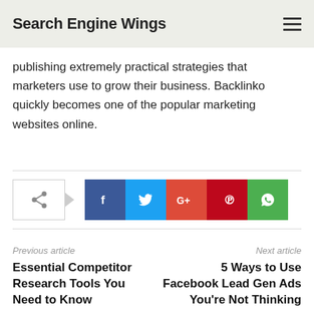Search Engine Wings
publishing extremely practical strategies that marketers use to grow their business. Backlinko quickly becomes one of the popular marketing websites online.
[Figure (other): Social share buttons row: share icon box with arrow, then Facebook (blue), Twitter (cyan), Google+ (orange-red), Pinterest (dark red), WhatsApp (green) icon buttons]
Previous article
Next article
Essential Competitor Research Tools You Need to Know
5 Ways to Use Facebook Lead Gen Ads You're Not Thinking